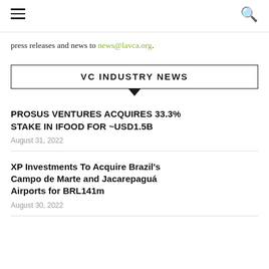press releases and news to news@lavca.org.
VC INDUSTRY NEWS
PROSUS VENTURES ACQUIRES 33.3% STAKE IN IFOOD FOR ~USD1.5B
August 31, 2022
XP Investments To Acquire Brazil's Campo de Marte and Jacarepaguá Airports for BRL141m
August 30, 2022